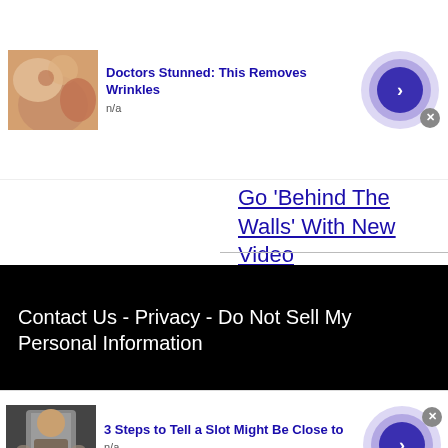[Figure (screenshot): Ad thumbnail image showing close-up of elderly skin/ear area]
Doctors Stunned: This Removes Wrinkles
n/a
Go 'Behind The Walls' With New Video
Contact Us - Privacy - Do Not Sell My Personal Information
[Figure (screenshot): Ad thumbnail image showing person in jacket]
3 Steps to Tell a Slot Might Be Close to
n/a
daily-winners.com